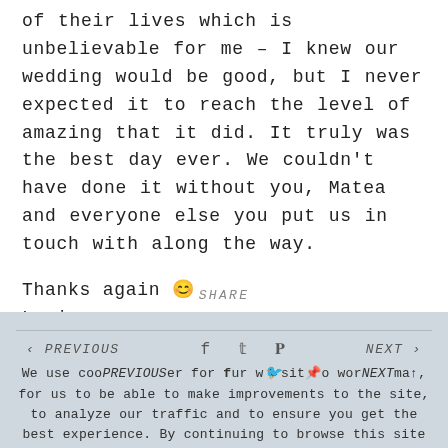of their lives which is unbelievable for me – I knew our wedding would be good, but I never expected it to reach the level of amazing that it did. It truly was the best day ever. We couldn't have done it without you, Matea and everyone else you put us in touch with along the way.

Thanks again 😊
Louise
SHARE
We use cookies for our website to work properly, for us to be able to make improvements to the site, to analyze our traffic and to ensure you get the best experience. By continuing to browse this site you are agreeing to our Cookie Policy.